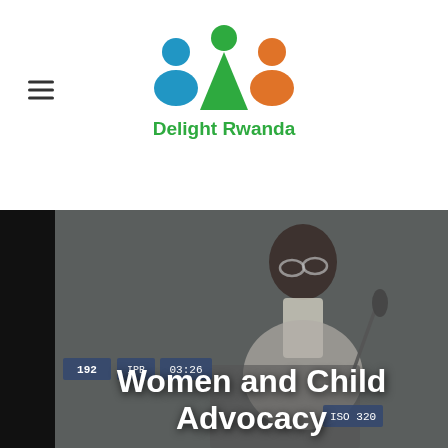[Figure (logo): Delight Rwanda logo with stylized people figures in blue, green, and orange colors, with green text 'Delight Rwanda' beneath]
[Figure (photo): Dark-toned photo of a person at a podium with a microphone, overlaid with camera HUD information (192, IPB, 03:26, ISO 320), with a dark overlay]
Women and Child Advocacy